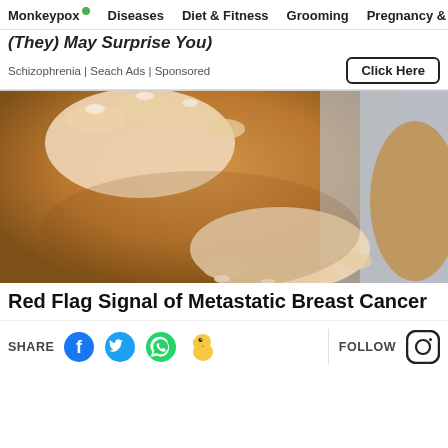Monkeypox  Diseases  Diet & Fitness  Grooming  Pregnancy & Par...
(They) May Surprise You)
Schizophrenia | Seach Ads | Sponsored
[Figure (photo): Close-up photo of a person wearing an orange/brown short-sleeve top, with hands pressing/examining the chest area against a light gray background.]
Red Flag Signal of Metastatic Breast Cancer
SHARE  FOLLOW